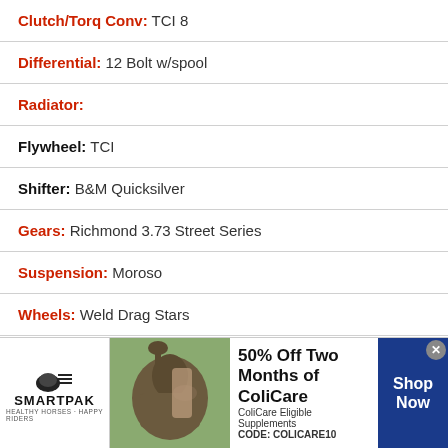Clutch/Torq Conv: TCI 8
Differential: 12 Bolt w/spool
Radiator:
Flywheel: TCI
Shifter: B&M Quicksilver
Gears: Richmond 3.73 Street Series
Suspension: Moroso
Wheels: Weld Drag Stars
Brake Rotors/Pads: Stock disc/drum
Tires  Moroso Drag Specials - M/T Drag 28x10.5
Parts: Firebird Parts
[Figure (infographic): SmartPak advertisement banner: 50% Off Two Months of ColiCare, ColiCare Eligible Supplements, CODE: COLICARE10, Shop Now button]